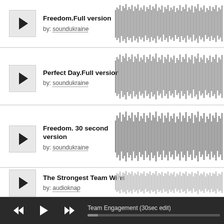[Figure (screenshot): Audio track listing with play buttons, track titles, artist names, and waveform previews. Four tracks shown: Freedom.Full version by soundukraine, Perfect Day.Full version by soundukraine, Freedom. 30 second version by soundukraine, The Strongest Team Wins by audioknap. Bottom player bar showing Team Engagement (30sec edit).]